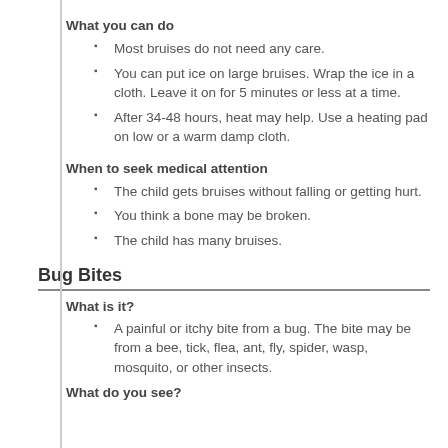What you can do
Most bruises do not need any care.
You can put ice on large bruises. Wrap the ice in a cloth. Leave it on for 5 minutes or less at a time.
After 34-48 hours, heat may help. Use a heating pad on low or a warm damp cloth.
When to seek medical attention
The child gets bruises without falling or getting hurt.
You think a bone may be broken.
The child has many bruises.
Bug Bites
What is it?
A painful or itchy bite from a bug. The bite may be from a bee, tick, flea, ant, fly, spider, wasp, mosquito, or other insects.
What do you see?